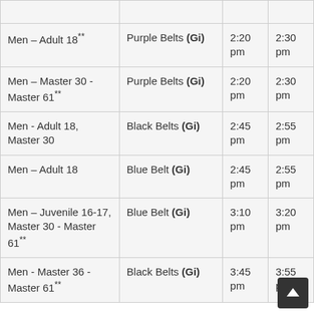| Men – Adult 18** | Purple Belts (Gi) | 2:20 pm | 2:30 pm |
| Men – Master 30 - Master 61** | Purple Belts (Gi) | 2:20 pm | 2:30 pm |
| Men - Adult 18, Master 30 | Black Belts (Gi) | 2:45 pm | 2:55 pm |
| Men – Adult 18 | Blue Belt (Gi) | 2:45 pm | 2:55 pm |
| Men – Juvenile 16-17, Master 30 - Master 61** | Blue Belt (Gi) | 3:10 pm | 3:20 pm |
| Men - Master 36 - Master 61** | Black Belts (Gi) | 3:45 pm | 3:55 pm |